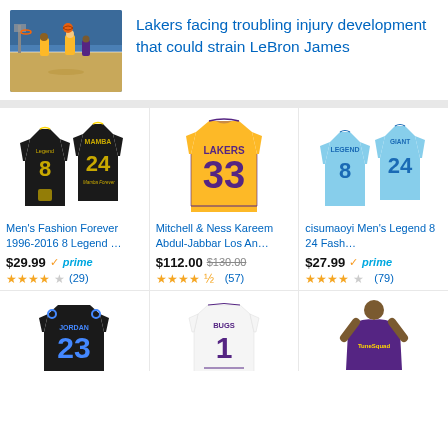[Figure (photo): Basketball game photo showing Lakers players on court]
Lakers facing troubling injury development that could strain LeBron James
[Figure (photo): Men's Fashion Forever 1996-2016 8 Legend black basketball jersey with Mamba text and number 24]
Men's Fashion Forever 1996-2016 8 Legend …
$29.99 prime (29 reviews, 4 stars)
[Figure (photo): Mitchell & Ness Kareem Abdul-Jabbar Los Angeles Lakers gold jersey number 33]
Mitchell & Ness Kareem Abdul-Jabbar Los An…
$112.00 $130.00 (57 reviews, 4.5 stars)
[Figure (photo): cisumaoyi Men's Legend 8 24 light blue basketball jerseys]
cisumaoyi Men's Legend 8 24 Fash…
$27.99 prime (79 reviews, 4 stars)
[Figure (photo): Black basketball jersey with number 23]
[Figure (photo): White basketball jersey with BUGS and number 1]
[Figure (photo): Purple basketball jersey on player]